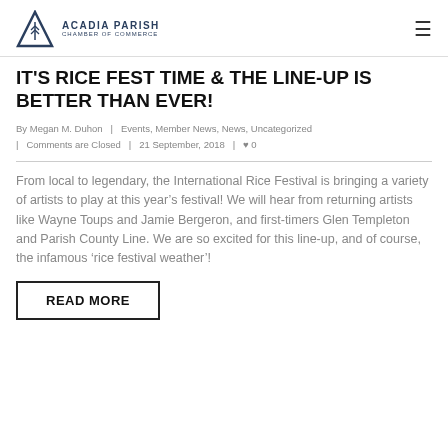ACADIA PARISH CHAMBER OF COMMERCE
IT'S RICE FEST TIME & THE LINE-UP IS BETTER THAN EVER!
By Megan M. Duhon | Events, Member News, News, Uncategorized | Comments are Closed | 21 September, 2018 | 0
From local to legendary, the International Rice Festival is bringing a variety of artists to play at this year's festival! We will hear from returning artists like Wayne Toups and Jamie Bergeron, and first-timers Glen Templeton and Parish County Line. We are so excited for this line-up, and of course, the infamous 'rice festival weather'!
READ MORE